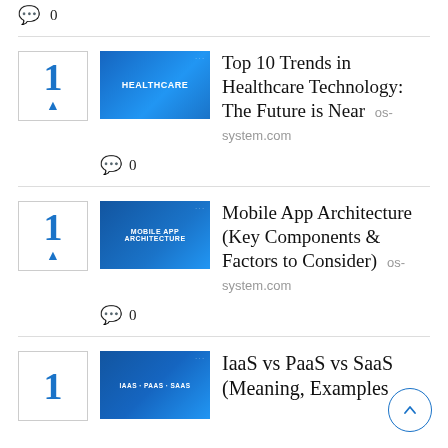💬 0
Top 10 Trends in Healthcare Technology: The Future is Near os-system.com
💬 0
Mobile App Architecture (Key Components & Factors to Consider) os-system.com
💬 0
IaaS vs PaaS vs SaaS (Meaning, Examples...